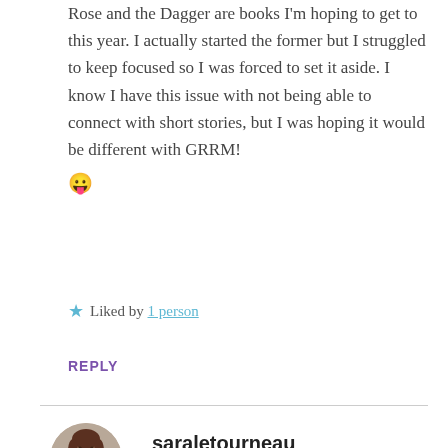Rose and the Dagger are books I'm hoping to get to this year. I actually started the former but I struggled to keep focused so I was forced to set it aside. I know I have this issue with not being able to connect with short stories, but I was hoping it would be different with GRRM! 😛
★ Liked by 1 person
REPLY
[Figure (photo): Circular avatar photo of saraletourneau, a woman with brown hair wearing a red/maroon top, smiling]
saraletourneau
JUNE 8, 2016 AT 9:07 AM
*lol* Definitely give Knight another shot